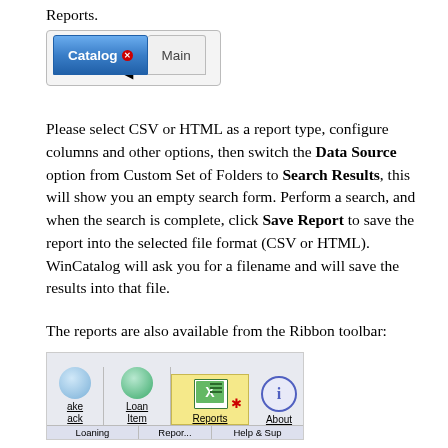Reports.
[Figure (screenshot): Screenshot of Catalog and Main tabs, with cursor hovering on Catalog tab]
Please select CSV or HTML as a report type, configure columns and other options, then switch the Data Source option from Custom Set of Folders to Search Results, this will show you an empty search form. Perform a search, and when the search is complete, click Save Report to save the report into the selected file format (CSV or HTML). WinCatalog will ask you for a filename and will save the results into that file.
The reports are also available from the Ribbon toolbar:
[Figure (screenshot): Screenshot of Ribbon toolbar showing Loaning group with icons (ake, Loan Item, Reports highlighted in yellow, About) and Help & Sup group, with cursor on Reports button]